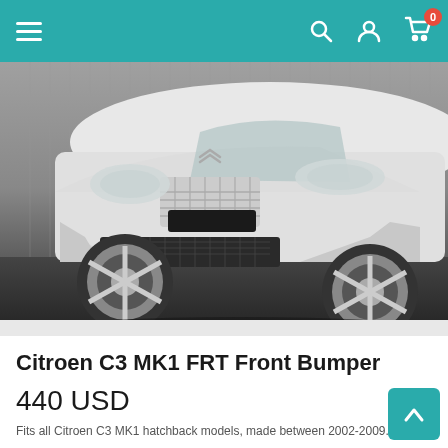Navigation bar with hamburger menu, search, account, and cart icons (cart badge: 0)
[Figure (photo): Front view of a white Citroen C3 MK1 with a custom FRT front bumper kit, photographed in a studio-like setting with a corrugated metal background. The car features a mesh grille, a blacked-out license plate area, and large aftermarket alloy wheels.]
Citroen C3 MK1 FRT Front Bumper
440 USD
Fits all Citroen C3 MK1 hatchback models, made between 2002-2009.